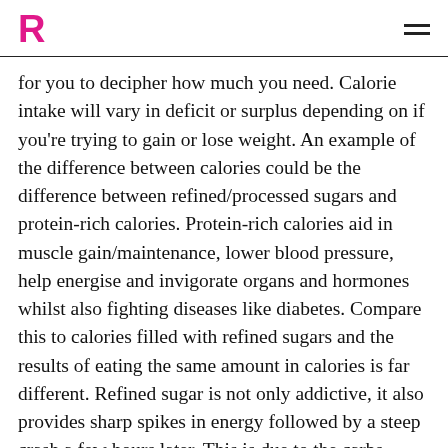R
for you to decipher how much you need. Calorie intake will vary in deficit or surplus depending on if you're trying to gain or lose weight. An example of the difference between calories could be the difference between refined/processed sugars and protein-rich calories. Protein-rich calories aid in muscle gain/maintenance, lower blood pressure, help energise and invigorate organs and hormones whilst also fighting diseases like diabetes. Compare this to calories filled with refined sugars and the results of eating the same amount in calories is far different. Refined sugar is not only addictive, it also provides sharp spikes in energy followed by a steep crash a few hours later. This is due to the carbs being easy to digest, meaning you are likely to consume far more to feel full.